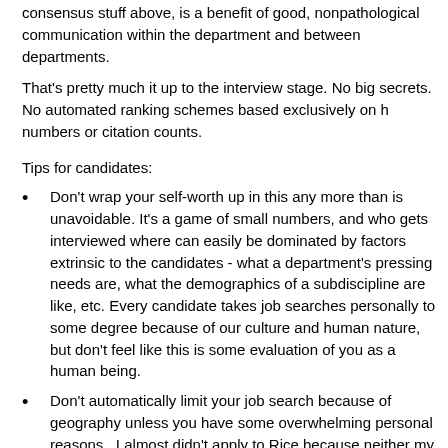consensus stuff above, is a benefit of good, nonpathological communication within the department and between departments.
That's pretty much it up to the interview stage. No big secrets. No automated ranking schemes based exclusively on h numbers or citation counts.
Tips for candidates:
Don't wrap your self-worth up in this any more than is unavoidable. It's a game of small numbers, and who gets interviewed where can easily be dominated by factors extrinsic to the candidates - what a department's pressing needs are, what the demographics of a subdiscipline are like, etc. Every candidate takes job searches personally to some degree because of our culture and human nature, but don't feel like this is some evaluation of you as a human being.
Don't automatically limit your job search because of geography unless you have some overwhelming personal reasons.  I almost didn't apply to Rice because neither my wife nor I were particularly thrilled about Texas, despite the fact